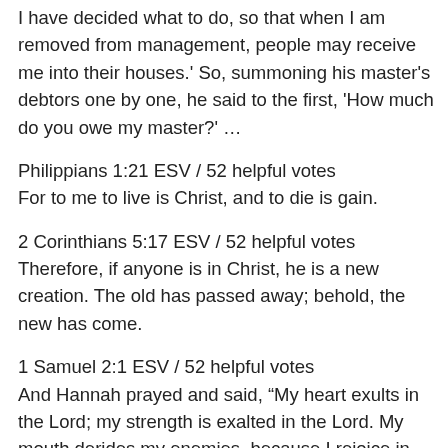I have decided what to do, so that when I am removed from management, people may receive me into their houses.' So, summoning his master's debtors one by one, he said to the first, 'How much do you owe my master?' …
Philippians 1:21 ESV / 52 helpful votes
For to me to live is Christ, and to die is gain.
2 Corinthians 5:17 ESV / 52 helpful votes
Therefore, if anyone is in Christ, he is a new creation. The old has passed away; behold, the new has come.
1 Samuel 2:1 ESV / 52 helpful votes
And Hannah prayed and said, “My heart exults in the Lord; my strength is exalted in the Lord. My mouth derides my enemies, because I rejoice in